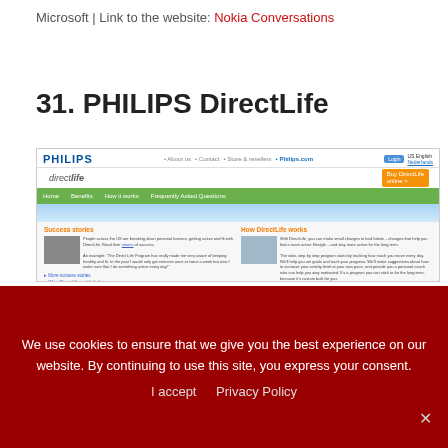Microsoft | Link to the website: Nokia Conversations
31. PHILIPS DirectLife
[Figure (screenshot): Screenshot of the PHILIPS DirectLife website showing the homepage with navigation, 'Success stories' and 'How DirectLife works' sections, and a 'What you get' section below.]
We use cookies to ensure that we give you the best experience on our website. By continuing to use this site, you express your consent.
I accept   Privacy Policy